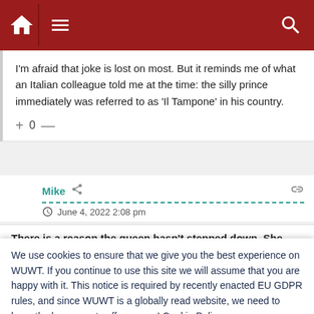[Figure (screenshot): Dark red navigation bar with home icon, hamburger menu icon, and search icon]
I'm afraid that joke is lost on most. But it reminds me of what an Italian colleague told me at the time: the silly prince immediately was referred to as 'Il Tampone' in his country.
+ 0 —
Mike
June 4, 2022 2:08 pm
There is a reason the queen hasn't stepped down. She knows
We use cookies to ensure that we give you the best experience on WUWT. If you continue to use this site we will assume that you are happy with it. This notice is required by recently enacted EU GDPR rules, and since WUWT is a globally read website, we need to keep the bureaucrats off our case! Cookie Policy
Close and accept
+ 37 —